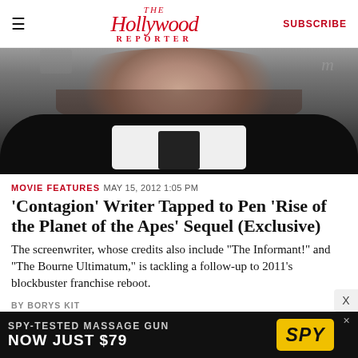The Hollywood Reporter   SUBSCRIBE
[Figure (photo): Close-up photo of a man in a dark suit with white shirt and dark tie, showing his chin/neck area with stubble beard]
MOVIE FEATURES   MAY 15, 2012 1:05 PM
'Contagion' Writer Tapped to Pen 'Rise of the Planet of the Apes' Sequel (Exclusive)
The screenwriter, whose credits also include 'The Informant!' and 'The Bourne Ultimatum,' is tackling a follow-up to 2011's blockbuster franchise reboot.
BY BORYS KIT
[Figure (infographic): Advertisement banner: SPY-TESTED MASSAGE GUN NOW JUST $79 with SPY logo on yellow background]